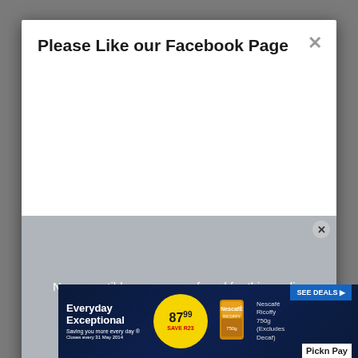[Figure (screenshot): Background screenshot of a webpage showing a blurred/dimmed sports/beach scene behind a modal popup]
Please Like our Facebook Page
No compatible source was found for this media.
[Figure (photo): Pick n Pay advertisement banner: Everyday Exceptional - Nescafe Ricoffy 750g (Excludes Decaf) 87.99 SAVE R23 - SEE DEALS button and Pick n Pay logo]